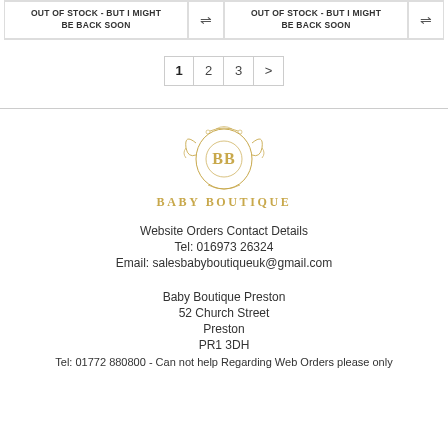OUT OF STOCK - BUT I MIGHT BE BACK SOON
OUT OF STOCK - BUT I MIGHT BE BACK SOON
1  2  3  >
[Figure (logo): Baby Boutique logo with ornate gold crest and BB monogram]
Website Orders Contact Details
Tel: 016973 26324
Email: salesbabyboutiqueuk@gmail.com
Baby Boutique Preston
52 Church Street
Preston
PR1 3DH
Tel: 01772 880800 - Can not help Regarding Web Orders please only